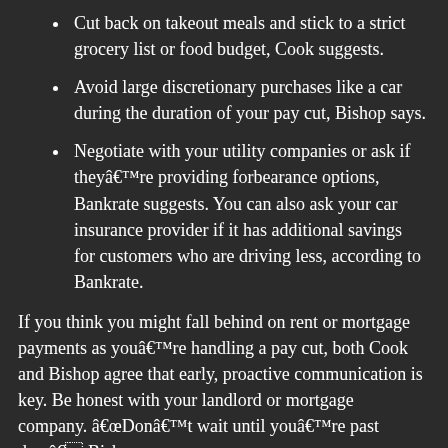Cut back on takeout meals and stick to a strict grocery list or food budget, Cook suggests.
Avoid large discretionary purchases like a car during the duration of your pay cut, Bishop says.
Negotiate with your utility companies or ask if theyâre providing forbearance options, Bankrate suggests. You can also ask your car insurance provider if it has additional savings for customers who are driving less, according to Bankrate.
If you think you might fall behind on rent or mortgage payments as youâre handling a pay cut, both Cook and Bishop agree that early, proactive communication is key. Be honest with your landlord or mortgage company. âDonât wait until youâre past due,â Bishop says.
The same applies for other financial obligations, such as your credit card bill. Youâll likely find these companies